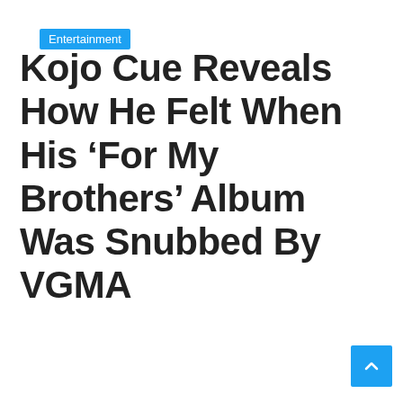Entertainment
Kojo Cue Reveals How He Felt When His ‘For My Brothers’ Album Was Snubbed By VGMA